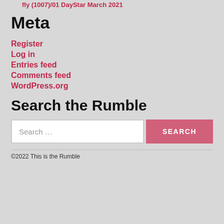fly (1007)/01 DayStar March 2021
Meta
Register
Log in
Entries feed
Comments feed
WordPress.org
Search the Rumble
Search ...
©2022 This is the Rumble ...